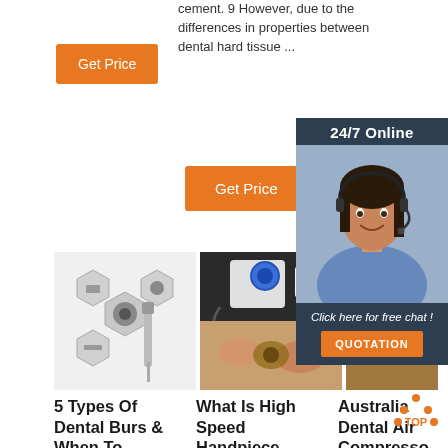cement. 9 However, due to the differences in properties between dental hard tissue ...
[Figure (other): Orange 'Get Price' button (top left)]
[Figure (other): Orange 'Get Price' button (middle)]
[Figure (photo): Dental burs product images - hexagonal arrangement of dental handpiece components]
[Figure (photo): High speed dental handpiece / micromotor machine images collage]
[Figure (photo): Australia dental air compressor suppliers product image]
[Figure (infographic): 24/7 Online chat advertisement sidebar with woman wearing headset, 'Click here for free chat!' text and QUOTATION button]
5 Types Of Dental Burs & When To
What Is High Speed Handpiece
Australia Dental Air Compressor Suppliers